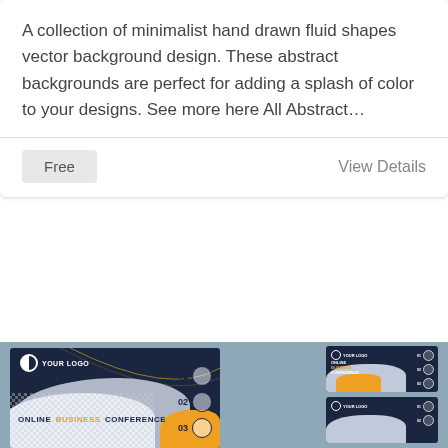A collection of minimalist hand drawn fluid shapes vector background design. These abstract backgrounds are perfect for adding a splash of color to your designs. See more here All Abstract…
Free
View Details
[Figure (illustration): Preview of online business conference flyer templates showing dark navy blue background with fluid wave shapes, orange accents, numbered circle placeholders (01, 02, 03), and text reading ONLINE BUSINESS CONFERENCE. Multiple layout variants shown.]